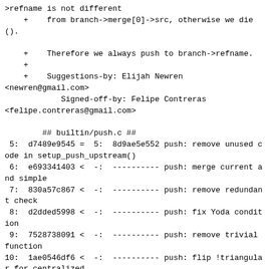>refname is not different
    +    from branch->merge[0]->src, otherwise we die().

    +    Therefore we always push to branch->refname.
    +
    +    Suggestions-by: Elijah Newren <newren@gmail.com>
            Signed-off-by: Felipe Contreras <felipe.contreras@gmail.com>

        ## builtin/push.c ##
 5:  d7489e9545 =  5:  8d9ae5e552 push: remove unused code in setup_push_upstream()
 6:  e693341403 <  -:  ---------- push: merge current and simple
 7:  830a57c867 <  -:  ---------- push: remove redundant check
 8:  d2dded5998 <  -:  ---------- push: fix Yoda condition
 9:  7528738091 <  -:  ---------- push: remove trivial function
10:  1ae0546df6 <  -:  ---------- push: flip !triangular for centralized
11:  3acd42e385 !  6:  b35bdf14dc doc: push: explain default=simple correctly
    @@ Metadata
        ## Commit message ##
            doc: push: explain default=simple correctly

            Now that the code has been unconvoluted and